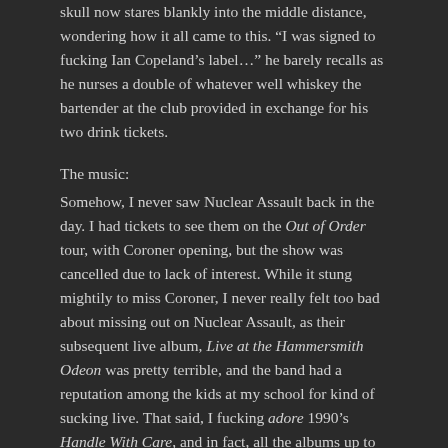skull now stares blankly into the middle distance, wondering how it all came to this. "I was signed to fucking Ian Copeland's label…" he barely recalls as he nurses a double of whatever well whiskey the bartender at the club provided in exchange for his two drink tickets.
The music:
Somehow, I never saw Nuclear Assault back in the day. I had tickets to see them on the Out of Order tour, with Coroner opening, but the show was cancelled due to lack of interest. While it stung mightily to miss Coroner, I never really felt too bad about missing out on Nuclear Assault, as their subsequent live album, Live at the Hammersmith Odeon was pretty terrible, and the band had a reputation among the kids at my school for kind of sucking live. That said, I fucking adore 1990's Handle With Care, and in fact, all the albums up to that point were good to great. So, when they got back together in the early aughts, I finally got a chance to see them, and they were amazing! They played the tiny upstairs bar of the club they were supposed to play in 1991, and the place was still only three quarters full, but they tore shit up. John Connelly